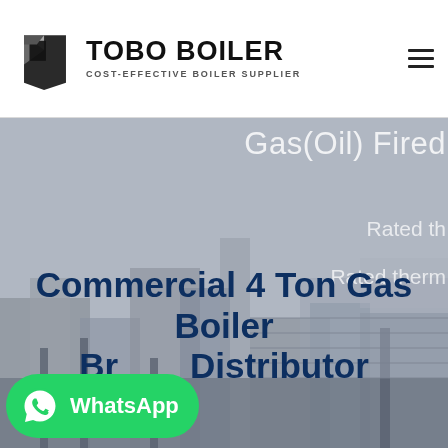[Figure (logo): TOBO BOILER logo with black geometric icon and text 'TOBO BOILER / COST-EFFECTIVE BOILER SUPPLIER']
[Figure (photo): Hero background image showing industrial boiler equipment/machinery in grey tones, partially visible. Overlay text on right reads 'Gas(Oil) Fired', 'Rated th...', 'Rated therm...' (text is clipped). Large bold dark blue title 'Commercial 4 Ton Gas Boiler Brand Distributor' overlaid at bottom. Green WhatsApp button at bottom left.]